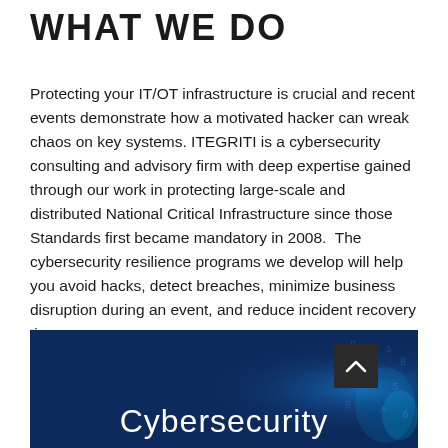WHAT WE DO
Protecting your IT/OT infrastructure is crucial and recent events demonstrate how a motivated hacker can wreak chaos on key systems. ITEGRITI is a cybersecurity consulting and advisory firm with deep expertise gained through our work in protecting large-scale and distributed National Critical Infrastructure since those Standards first became mandatory in 2008.  The cybersecurity resilience programs we develop will help you avoid hacks, detect breaches, minimize business disruption during an event, and reduce incident recovery time.
[Figure (illustration): Dark blue banner image with digital/cybersecurity background showing binary-like characters and a blue glowing light effect. White text reads 'Cybersecurity'. A dark scroll-up button with a caret/chevron icon is visible on the upper right of the banner.]